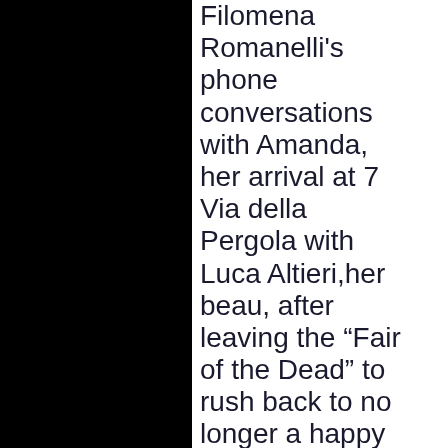Filomena Romanelli's phone conversations with Amanda, her arrival at 7 Via della Pergola with Luca Altieri,her beau, after leaving the “Fair of the Dead” to rush back to no longer a happy home but a murder scene, the broken glass scattered on clothes strewn in a bedroom which she